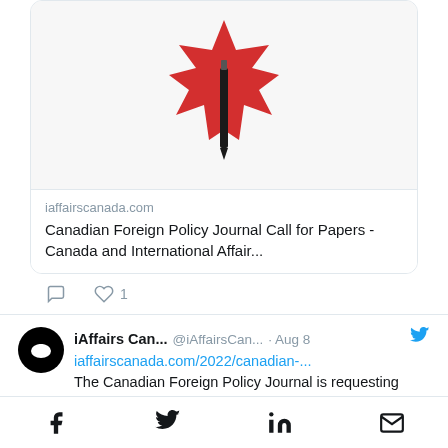[Figure (logo): Canadian maple leaf logo with a pen/pencil through the center on white background]
iaffairscanada.com
Canadian Foreign Policy Journal Call for Papers - Canada and International Affair...
1
[Figure (logo): iAffairs Canada circular black avatar with white polar bear silhouette]
iAffairs Can... @iAffairsCan... · Aug 8
iaffairscanada.com/2022/canadian-...
The Canadian Foreign Policy Journal is requesting submissions on the topic of 'The
[Figure (infographic): Social media share icons: Facebook, Twitter, LinkedIn, Email]